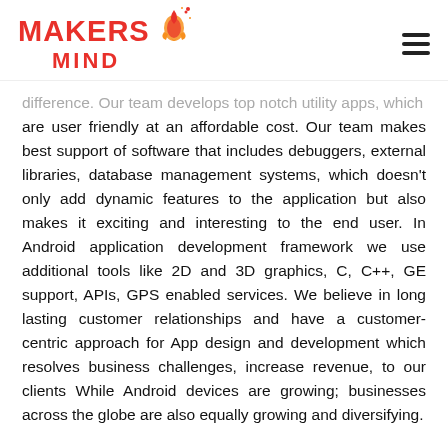[Figure (logo): Makers Mind logo with rocket/lightbulb icon in red/orange, text MAKERS in red bold and MIND in red bold below]
difference. Our team develops top notch utility apps, which are user friendly at an affordable cost. Our team makes best support of software that includes debuggers, external libraries, database management systems, which doesn't only add dynamic features to the application but also makes it exciting and interesting to the end user. In Android application development framework we use additional tools like 2D and 3D graphics, C, C++, GE support, APIs, GPS enabled services. We believe in long lasting customer relationships and have a customer-centric approach for App design and development which resolves business challenges, increase revenue, to our clients While Android devices are growing; businesses across the globe are also equally growing and diversifying.